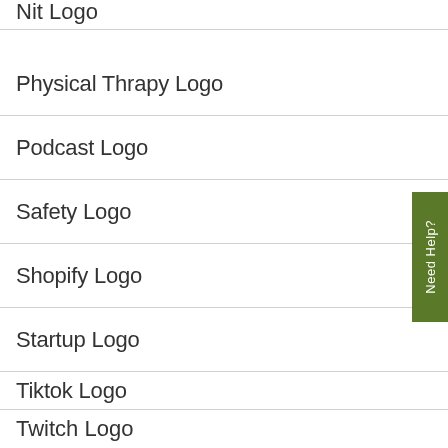Nit Logo
Physical Thrapy Logo
Podcast Logo
Safety Logo
Shopify Logo
Startup Logo
Tiktok Logo
Twitch Logo